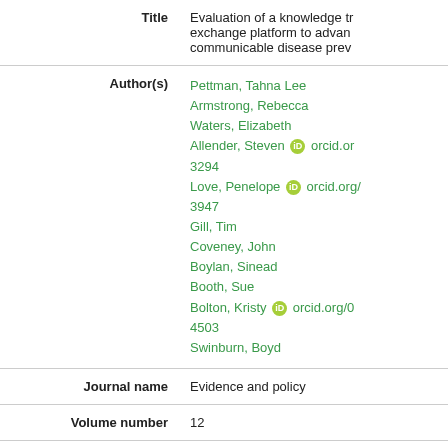| Field | Value |
| --- | --- |
| Title | Evaluation of a knowledge transfer and exchange platform to advance communicable disease prevention |
| Author(s) | Pettman, Tahna Lee
Armstrong, Rebecca
Waters, Elizabeth
Allender, Steven orcid.org/...-3294
Love, Penelope orcid.org/...-3947
Gill, Tim
Coveney, John
Boylan, Sinead
Booth, Sue
Bolton, Kristy orcid.org/0...-4503
Swinburn, Boyd |
| Journal name | Evidence and policy |
| Volume number | 12 |